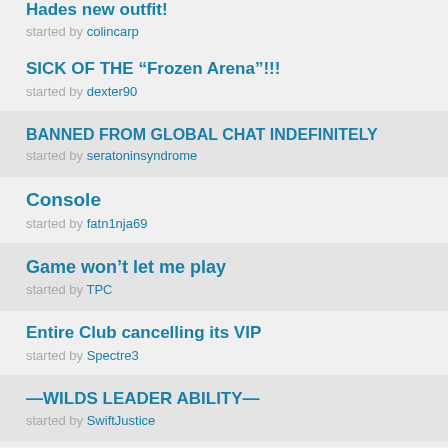Hades new outfit! started by colincarp
SICK OF THE “Frozen Arena”!!! started by dexter90
BANNED FROM GLOBAL CHAT INDEFINITELY started by seratoninsyndrome
Console started by fatn1nja69
Game won’t let me play started by TPC
Entire Club cancelling its VIP started by Spectre3
—WILDS LEADER ABILITY— started by SwiftJustice